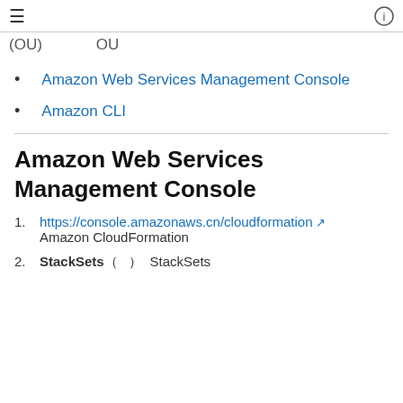≡  (i)
(OU)   OU
Amazon Web Services Management Console
Amazon CLI
Amazon Web Services Management Console
1. https://console.amazonaws.cn/cloudformation Amazon CloudFormation
2. StackSets (   )  StackSets